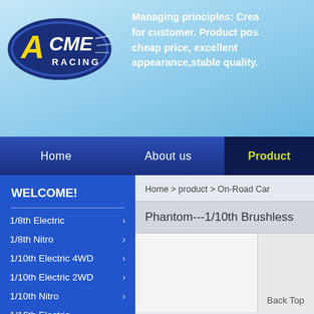[Figure (logo): ACME Racing logo - blue oval with yellow letter A and white text ACME with RACING below]
Managing principles: Crea for customer. Product pos cheap price, excellent appearance,stable quality.
Home   About us   Product
WELCOME!
1/8th Electric
1/8th Nitro
1/10th Electric 4WD
1/10th Electric 2WD
1/10th Nitro
1/16th Electric
1/16th Nitro
Home > product > On-Road Car
Phantom---1/10th Brushless
Back Top